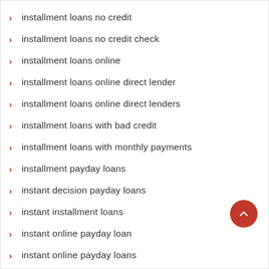installment loans no credit
installment loans no credit check
installment loans online
installment loans online direct lender
installment loans online direct lenders
installment loans with bad credit
installment loans with monthly payments
installment payday loans
instant decision payday loans
instant installment loans
instant online payday loan
instant online payday loans
instant online title loans
instant payday loan
instant payday loan online